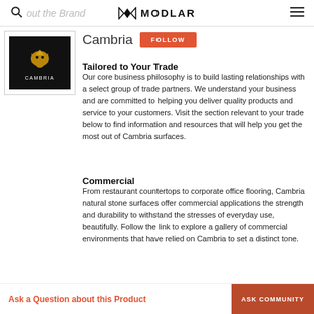MODLAR
[Figure (logo): Cambria brand logo: black rectangle with a gold dragon and the word Cambria in white below]
Cambria
Tailored to Your Trade
Our core business philosophy is to build lasting relationships with a select group of trade partners. We understand your business and are committed to helping you deliver quality products and service to your customers. Visit the section relevant to your trade below to find information and resources that will help you get the most out of Cambria surfaces.
Commercial
From restaurant countertops to corporate office flooring, Cambria natural stone surfaces offer commercial applications the strength and durability to withstand the stresses of everyday use, beautifully. Follow the link to explore a gallery of commercial environments that have relied on Cambria to set a distinct tone.
Ask a Question about this Product   ASK COMMUNITY